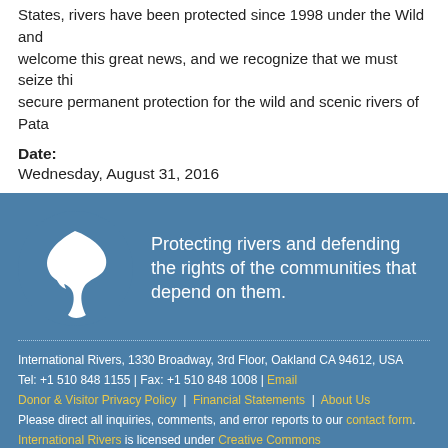States, rivers have been protected since 1998 under the Wild and ... welcome this great news, and we recognize that we must seize thi... secure permanent protection for the wild and scenic rivers of Pata...
Date: Wednesday, August 31, 2016
[Figure (logo): International Rivers logo — white river/wave shape on blue background]
Protecting rivers and defending the rights of the communities that depend on them.
International Rivers, 1330 Broadway, 3rd Floor, Oakland CA 94612, USA
Tel: +1 510 848 1155 | Fax: +1 510 848 1008 | Email
Donor & Visitor Privacy Policy | Financial Statements | About Us
Please direct all inquiries, comments, and error reports to our contact form.
International Rivers is licensed under Creative Commons